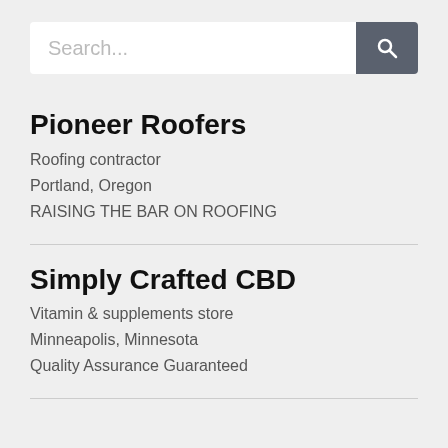[Figure (screenshot): Search bar with text input placeholder 'Search...' and dark search icon button]
Pioneer Roofers
Roofing contractor
Portland, Oregon
RAISING THE BAR ON ROOFING
Simply Crafted CBD
Vitamin & supplements store
Minneapolis, Minnesota
Quality Assurance Guaranteed